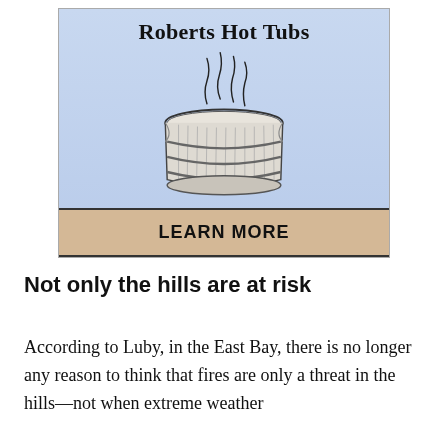[Figure (illustration): Advertisement for Roberts Hot Tubs showing a cylindrical wooden hot tub with steam rising from it on a light blue gradient background, with a tan 'LEARN MORE' button at the bottom.]
Not only the hills are at risk
According to Luby, in the East Bay, there is no longer any reason to think that fires are only a threat in the hills—not when extreme weather